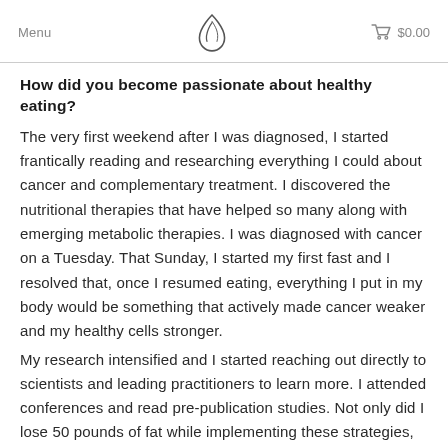Menu  $0.00
How did you become passionate about healthy eating?
The very first weekend after I was diagnosed, I started frantically reading and researching everything I could about cancer and complementary treatment. I discovered the nutritional therapies that have helped so many along with emerging metabolic therapies. I was diagnosed with cancer on a Tuesday. That Sunday, I started my first fast and I resolved that, once I resumed eating, everything I put in my body would be something that actively made cancer weaker and my healthy cells stronger.
My research intensified and I started reaching out directly to scientists and leading practitioners to learn more. I attended conferences and read pre-publication studies. Not only did I lose 50 pounds of fat while implementing these strategies, but, one year after my diagnosis, I was miraculously cancer free. I'm now dedicated to sharing the evidence-based nutrition and